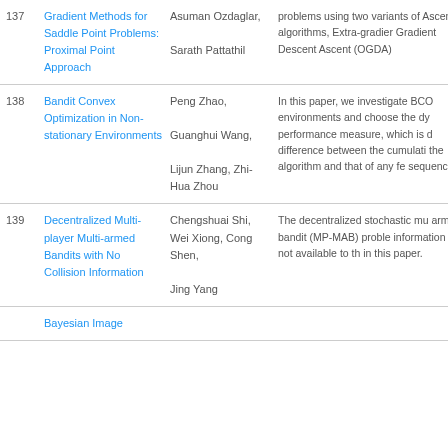| # | Title | Authors | Abstract |
| --- | --- | --- | --- |
| 137 | Gradient Methods for Saddle Point Problems: Proximal Point Approach | Asuman Ozdaglar, Sarath Pattathil | problems using two variants of Ascent algorithms, Extra-gradient, Gradient Descent Ascent (OGDA) |
| 138 | Bandit Convex Optimization in Non-stationary Environments | Peng Zhao, Guanghui Wang, Lijun Zhang, Zhi-Hua Zhou | In this paper, we investigate BCO environments and choose the dy performance measure, which is difference between the cumulative the algorithm and that of any fe sequence. |
| 139 | Decentralized Multi-player Multi-armed Bandits with No Collision Information | Chengshuai Shi, Wei Xiong, Cong Shen, Jing Yang | The decentralized stochastic mu armed bandit (MP-MAB) proble information is not available to th in this paper. |
|  | Bayesian Image |  |  |